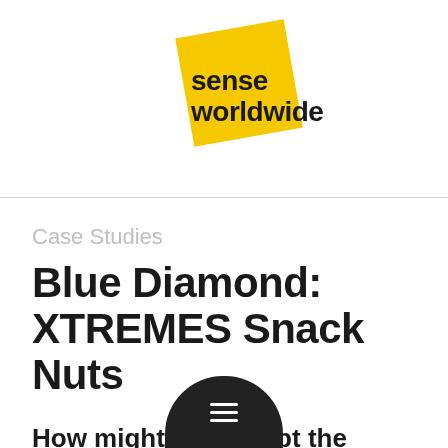[Figure (logo): Sense Worldwide logo: yellow rotated square with 'sense worldwide' text in dark/black sans-serif]
Case Studies
Blue Diamond: XTREMES Snack Nuts
How might we disrupt the snacking... with an